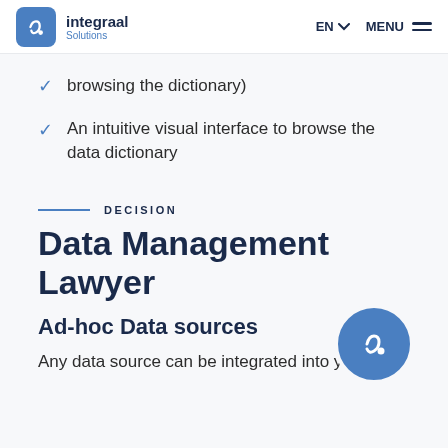integraal Solutions | EN | MENU
browsing the dictionary)
An intuitive visual interface to browse the data dictionary
DECISION
Data Management Lawyer
Ad-hoc Data sources
Any data source can be integrated into your